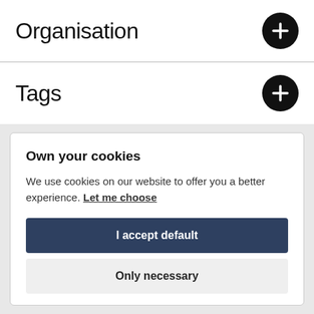Organisation
Tags
Own your cookies
We use cookies on our website to offer you a better experience. Let me choose
I accept default
Only necessary